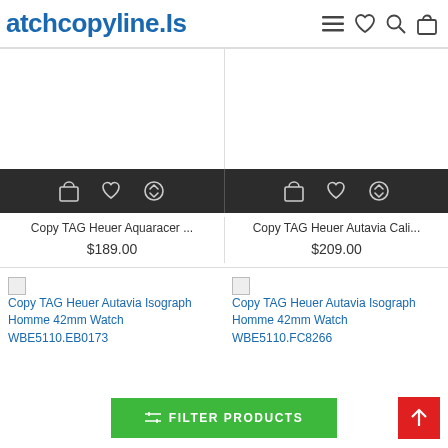atchcopyline.Is
[Figure (screenshot): Product action bar with shopping bag, heart, and compare icons for first product]
[Figure (screenshot): Product action bar with shopping bag, heart, and compare icons for second product]
Copy TAG Heuer Aquaracer ...
$189.00
Copy TAG Heuer Autavia Cali...
$209.00
Copy TAG Heuer Autavia Isograph Homme 42mm Watch WBE5110.EB0173
Copy TAG Heuer Autavia Isograph Homme 42mm Watch WBE5110.FC8266